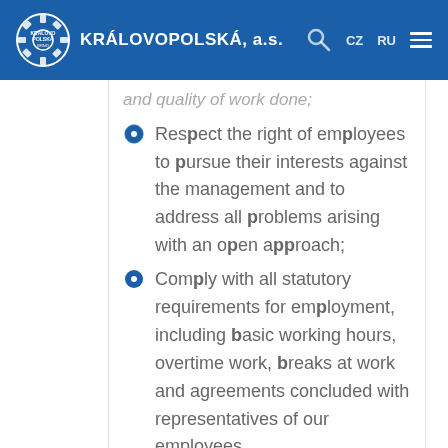KRÁLOVOPOLSKÁ, a.s.
and quality of work done;
Respect the right of employees to pursue their interests against the management and to address all problems arising with an open approach;
Comply with all statutory requirements for employment, including basic working hours, overtime work, breaks at work and agreements concluded with representatives of our employees.